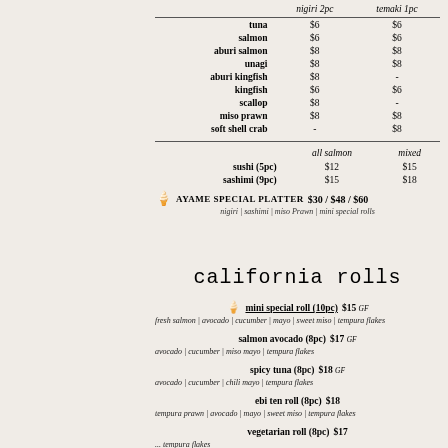|  | nigiri 2pc | temaki 1pc |
| --- | --- | --- |
| tuna | $6 | $6 |
| salmon | $6 | $6 |
| aburi salmon | $8 | $8 |
| unagi | $8 | $8 |
| aburi kingfish | $8 | - |
| kingfish | $6 | $6 |
| scallop | $8 | - |
| miso prawn | $8 | $8 |
| soft shell crab | - | $8 |
|  | all salmon | mixed |
| --- | --- | --- |
| sushi (5pc) | $12 | $15 |
| sashimi (9pc) | $15 | $18 |
AYAME SPECIAL PLATTER   $30 / $48 / $60
nigiri | sashimi | miso Prawn | mini special rolls
california rolls
mini special roll (10pc)  $15 GF
fresh salmon | avocado | cucumber | mayo | sweet miso | tempura flakes
salmon avocado (8pc)  $17 GF
avocado | cucumber | miso mayo | tempura flakes
spicy tuna (8pc)  $18 GF
avocado | cucumber | chili mayo | tempura flakes
ebi ten roll (8pc)  $18
tempura prawn | avocado | mayo | sweet miso | tempura flakes
vegetarian roll (8pc)  $17
tempura flakes